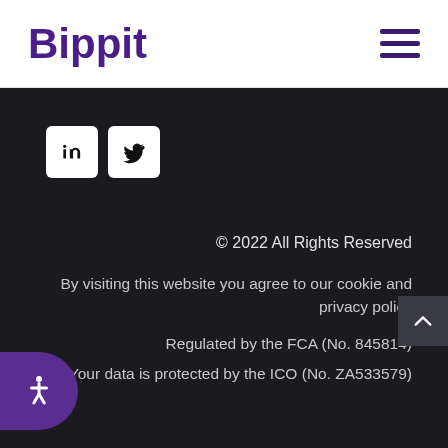Bippit
[Figure (logo): Bippit company logo in bold purple text]
[Figure (illustration): Hamburger menu icon (three horizontal lines) in dark purple]
[Figure (illustration): LinkedIn and Twitter social media icon buttons (white rounded squares with black icons)]
© 2022 All Rights Reserved
By visiting this website you agree to our cookie and privacy policy
Regulated by the FCA (No. 845814)
Your data is protected by the ICO (No. ZA533579)